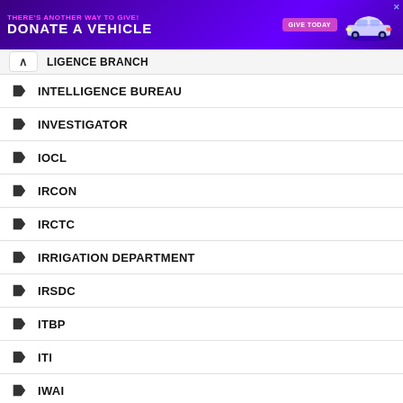[Figure (other): Advertisement banner: THERE'S ANOTHER WAY TO GIVE! DONATE A VEHICLE - GIVE TODAY button with car illustration]
INTELLIGENCE BRANCH
INTELLIGENCE BUREAU
INVESTIGATOR
IOCL
IRCON
IRCTC
IRRIGATION DEPARTMENT
IRSDC
ITBP
ITI
IWAI
JAIL DEPARTMENT